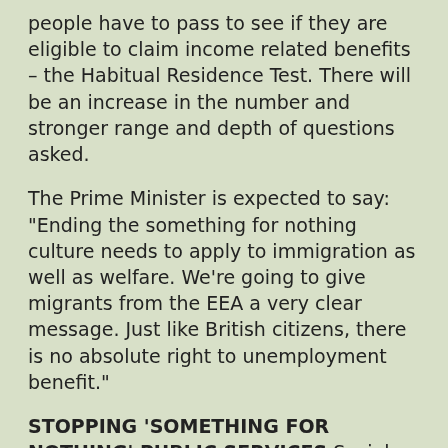people have to pass to see if they are eligible to claim income related benefits – the Habitual Residence Test. There will be an increase in the number and stronger range and depth of questions asked.
The Prime Minister is expected to say: "Ending the something for nothing culture needs to apply to immigration as well as welfare. We're going to give migrants from the EEA a very clear message. Just like British citizens, there is no absolute right to unemployment benefit."
STOPPING 'SOMETHING FOR NOTHING' PUBLIC SERVICES Social housing We will introduce an expectation on councils to introduce a local residency test in determining who should qualify for social housing. This would mean someone would have to live in an area for say 2 or 5 years before they could even go on the waiting list.
This will stop someone from turning up and immediately gaining access to social housing. To ensure UK nationals are protected when they are moving for genuine reasons – for example for work or because of family breakdown – local